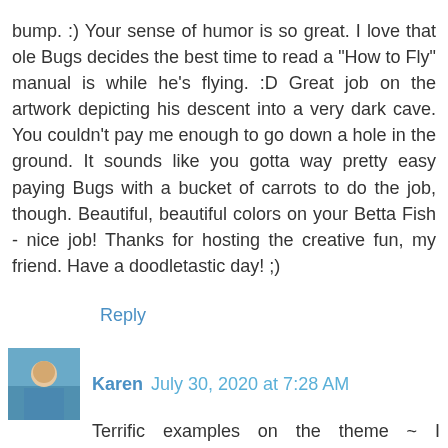bump. :) Your sense of humor is so great. I love that ole Bugs decides the best time to read a "How to Fly" manual is while he's flying. :D Great job on the artwork depicting his descent into a very dark cave. You couldn't pay me enough to go down a hole in the ground. It sounds like you gotta way pretty easy paying Bugs with a bucket of carrots to do the job, though. Beautiful, beautiful colors on your Betta Fish - nice job! Thanks for hosting the creative fun, my friend. Have a doodletastic day! ;)
Reply
Karen  July 30, 2020 at 7:28 AM
Terrific examples on the theme ~ I especially love your colorful Betta fish ~ Happy that your finding a normalcy to your days now & I'm thankful for my air conditioner too!
Reply
Toirdhealbheach Beucail  July 30, 2020 at 9:19 AM
The Betta is really spectacular Rain. Such fancy fish (we